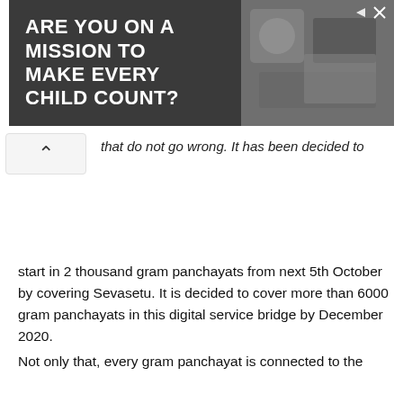[Figure (other): Advertisement banner with dark background showing text 'ARE YOU ON A MISSION TO MAKE EVERY CHILD COUNT?' with an image of people on the right side and ad control icons.]
that do not go wrong. It has been decided to
start in 2 thousand gram panchayats from next 5th October by covering Sevasetu. It is decided to cover more than 6000 gram panchayats in this digital service bridge by December 2020.
The most important thing in the digital service bridge is that connections will be provided through optical fiber network so that high speed internet of 100 MBPS is easily available in the villages of the state.
So far, 42 km panchayats of 27 districts have been covered by 31 km underground optical fiber network.
Not only that, every gram panchayat is connected to the